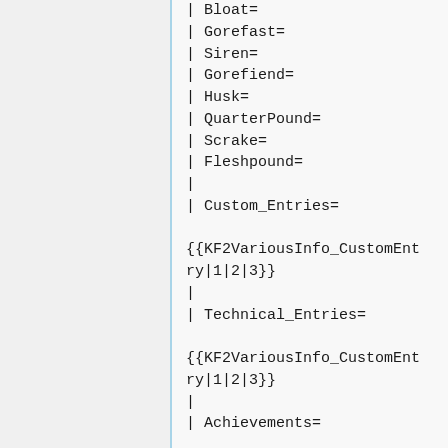| Bloat=
| Gorefast=
| Siren=
| Gorefiend=
| Husk=
| QuarterPound=
| Scrake=
| Fleshpound=
|
| Custom_Entries=

{{KF2VariousInfo_CustomEntry|1|2|3}}
|
| Technical_Entries=

{{KF2VariousInfo_CustomEntry|1|2|3}}
|
| Achievements=

{{KF2VariousInfo_Achievement|1|2}}
|
| Achievements_PS4=